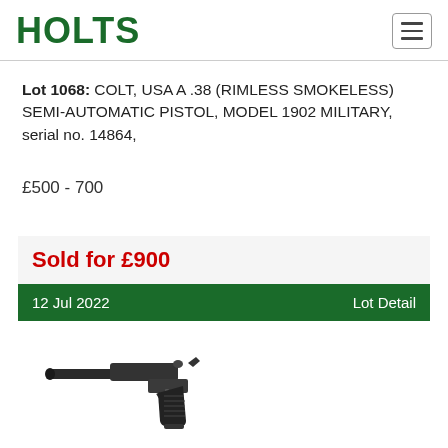HOLTS
Lot 1068: COLT, USA A .38 (RIMLESS SMOKELESS) SEMI-AUTOMATIC PISTOL, MODEL 1902 MILITARY, serial no. 14864,
£500 - 700
Sold for £900
12 Jul 2022  Lot Detail
[Figure (photo): Photo of a semi-automatic pistol (Luger-style) shown in profile against a white background]